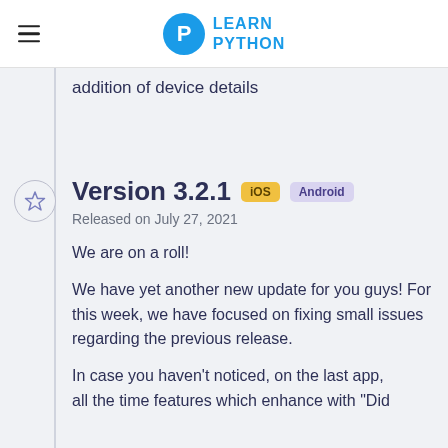LEARN PYTHON
addition of device details
Version 3.2.1  iOS  Android
Released on July 27, 2021
We are on a roll!
We have yet another new update for you guys! For this week, we have focused on fixing small issues regarding the previous release.
In case you haven't noticed, on the last app, all the time features which enhance with "Did